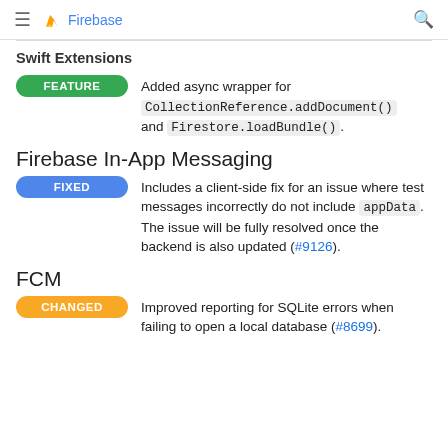Firebase
Swift Extensions
Added async wrapper for CollectionReference.addDocument() and Firestore.loadBundle().
Firebase In-App Messaging
Includes a client-side fix for an issue where test messages incorrectly do not include appData. The issue will be fully resolved once the backend is also updated (#9126).
FCM
Improved reporting for SQLite errors when failing to open a local database (#8699).